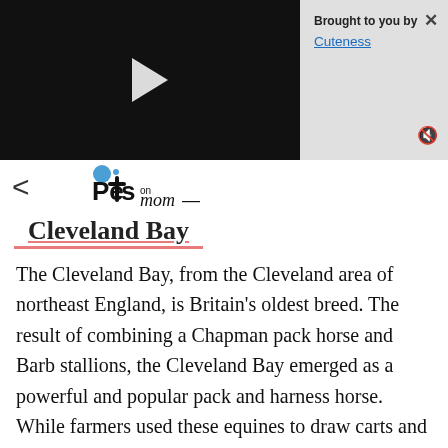[Figure (screenshot): Video player with black background and white play button triangle]
[Figure (screenshot): Ad bar reading 'Brought to you by Cuteness' with close X and mute icon]
[Figure (logo): Pets on Mom logo with blue circle, cross/plus symbol, and stylized text]
Cleveland Bay
The Cleveland Bay, from the Cleveland area of northeast England, is Britain's oldest breed. The result of combining a Chapman pack horse and Barb stallions, the Cleveland Bay emerged as a powerful and popular pack and harness horse. While farmers used these equines to draw carts and wagons, the demand for faster carriage horses resulted in crossbreeding between Clevelands and Thoroughbreds to create another